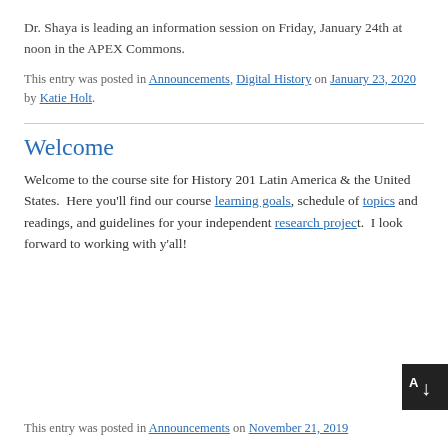Dr. Shaya is leading an information session on Friday, January 24th at noon in the APEX Commons.
This entry was posted in Announcements, Digital History on January 23, 2020 by Katie Holt.
Welcome
Welcome to the course site for History 201 Latin America & the United States.  Here you'll find our course learning goals, schedule of topics and readings, and guidelines for your independent research project.  I look forward to working with y'all!
This entry was posted in Announcements on November 21, 2019